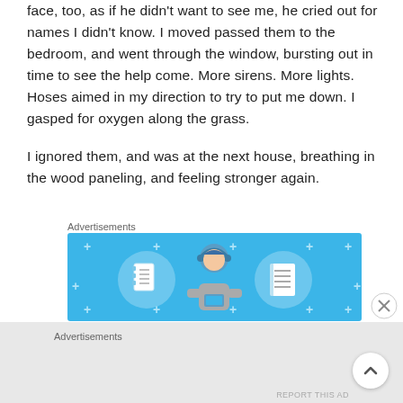face, too, as if he didn't want to see me, he cried out for names I didn't know. I moved passed them to the bedroom, and went through the window, bursting out in time to see the help come. More sirens. More lights. Hoses aimed in my direction to try to put me down. I gasped for oxygen along the grass.
I ignored them, and was at the next house, breathing in the wood paneling, and feeling stronger again.
Advertisements
[Figure (illustration): Advertisement banner with light blue background showing a cartoon person wearing a headset/cap, flanked by two circular icons — a notebook on the left and a document/list on the right. Small sparkle/plus decorations scattered around.]
Advertisements